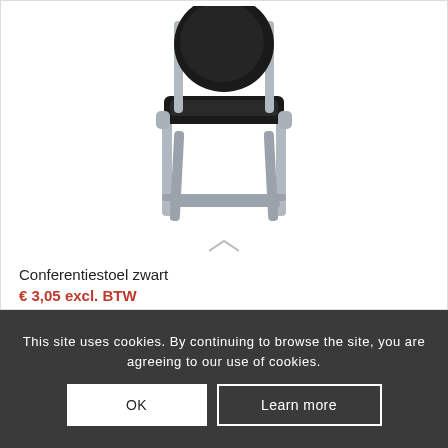[Figure (photo): Product photo of a black conference chair (Conferentiestoel zwart) with a round padded back and square padded seat on a silver metal frame, shown against a white background.]
Conferentiestoel zwart
€ 3,05 excl. BTW
This site uses cookies. By continuing to browse the site, you are agreeing to our use of cookies.
OK
Learn more